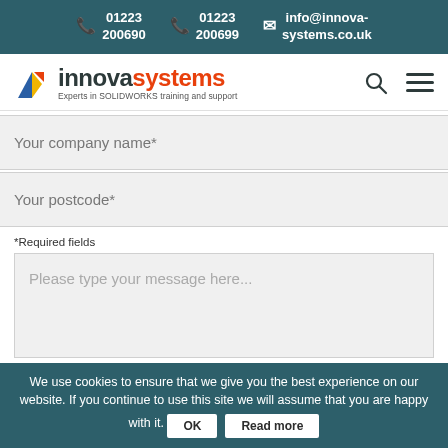01223 200690  01223 200699  info@innova-systems.co.uk
[Figure (logo): Innova Systems logo with triangular graphic and tagline 'Experts in SOLIDWORKS training and support']
Your company name*
Your postcode*
*Required fields
Please type your message here...
We use cookies to ensure that we give you the best experience on our website. If you continue to use this site we will assume that you are happy with it.  OK  Read more